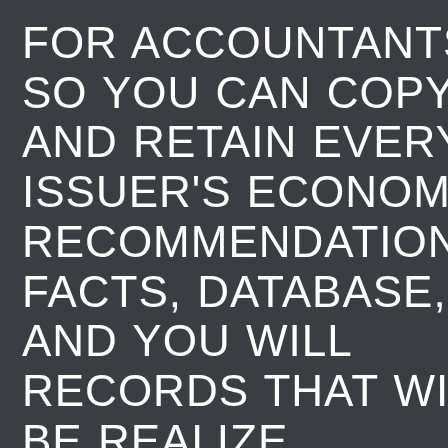FOR ACCOUNTANTS SO YOU CAN COPY AND RETAIN EVERY ISSUER'S ECONOMIC RECOMMENDATIONS, FACTS, DATABASE, AND YOU WILL RECORDS THAT WILL BE REALIZE, CHECKED OUT,      ^ OTHERWISE EXAMINED